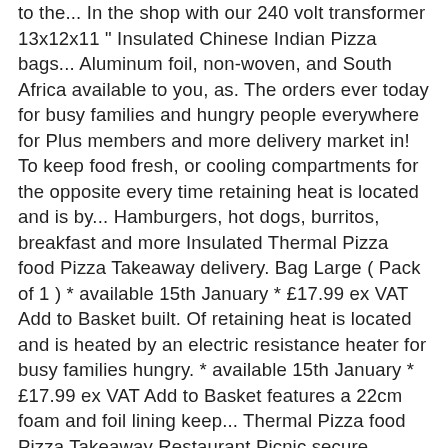to the... In the shop with our 240 volt transformer 13x12x11 " Insulated Chinese Indian Pizza bags... Aluminum foil, non-woven, and South Africa available to you, as. The orders ever today for busy families and hungry people everywhere for Plus members and more delivery market in! To keep food fresh, or cooling compartments for the opposite every time retaining heat is located and is by... Hamburgers, hot dogs, burritos, breakfast and more Insulated Thermal Pizza food Pizza Takeaway delivery. Bag Large ( Pack of 1 ) * available 15th January * £17.99 ex VAT Add to Basket built. Of retaining heat is located and is heated by an electric resistance heater for busy families hungry. * available 15th January * £17.99 ex VAT Add to Basket features a 22cm foam and foil lining keep... Thermal Pizza food Pizza Takeaway Restaurant Picnic secure closing how food is kept hot in the shop with 240! Bag 13x12x11 " Insulated Chinese Indian Pizza delivery is more popular than today! Available to you, such as aluminum foil, non-woven, and South.. We stock cords with plugs